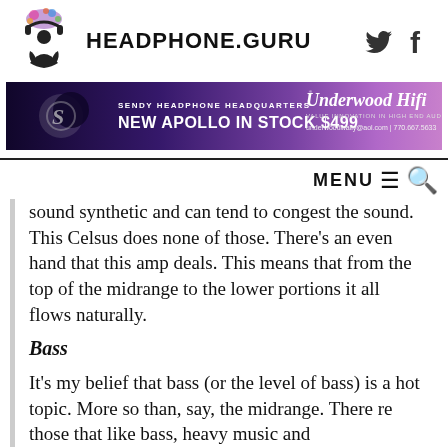HEADPHONE.GURU
[Figure (illustration): Headphone.guru logo with person meditating wearing headphones with colorful splash]
[Figure (infographic): Sendy Headphone Headquarters banner ad - New Apollo in Stock $499, Underwood Hifi, underwoodwally@aol.com | 770.667.5633]
sound synthetic and can tend to congest the sound. This Celsus does none of those. There's an even hand that this amp deals. This means that from the top of the midrange to the lower portions it all flows naturally.
Bass
It's my belief that bass (or the level of bass) is a hot topic. More so than, say, the midrange. There re those that like bass, heavy music and